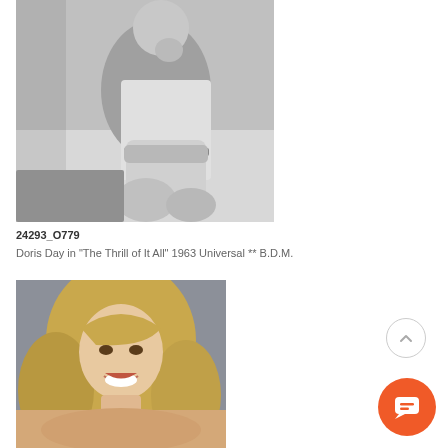[Figure (photo): Black and white photo of a person (Doris Day) sitting on a couch, holding a pillow, dressed in casual attire, looking to the side.]
24293_O779
Doris Day in "The Thrill of It All" 1963 Universal ** B.D.M.
[Figure (photo): Color portrait photo of a blonde woman with long wavy hair and bangs, smiling, wearing minimal clothing, against a grey background.]